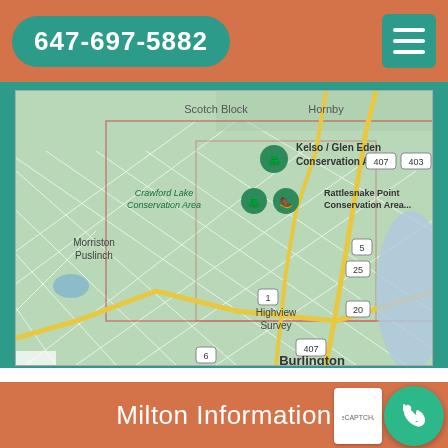647-697-5882
[Figure (map): Google Maps screenshot showing area around Milton, Ontario, Canada. Visible locations include Kelso/Glen Eden Conservation Area, Crawford Lake Conservation Area, Rattlesnake Point Conservation Area, Morriston, Puslinch, Highview Survey, Burlington. Highway markers visible: 407, 403, 5, 25, 20, 1, 6.]
Milton Information